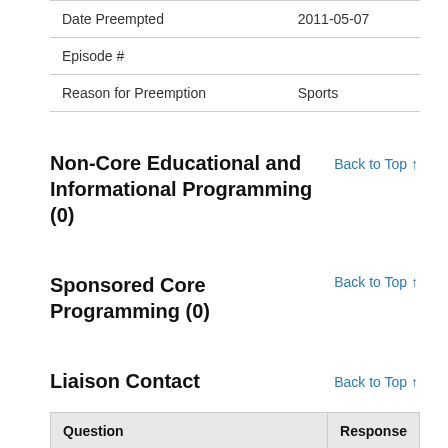| Question | Response |
| --- | --- |
| Date Preempted | 2011-05-07 |
| Episode # |  |
| Reason for Preemption | Sports |
Non-Core Educational and Informational Programming (0)
Sponsored Core Programming (0)
Liaison Contact
| Question | Response |
| --- | --- |
| Does the Licensee publicize the existence and location of the… | Yes |